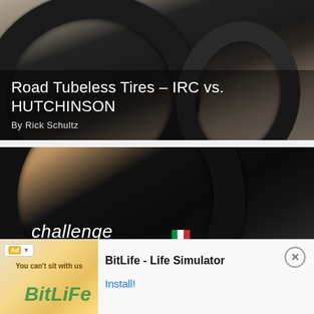[Figure (photo): Close-up photo of a road bicycle tubeless tire on a wheel against a light background, with dark tire tread visible.]
Road Tubeless Tires – IRC vs. HUTCHINSON
By Rick Schultz
[Figure (photo): Close-up photo of a Challenge Strada TLR tubeless road bicycle tire showing the tread and Italian flag logo against a brick wall background.]
[Figure (photo): Partially visible third article card with a bicycle tire image, title beginning 'Pro...' and author starting 'By R...']
Ad  BitLife - Life Simulator  Install!